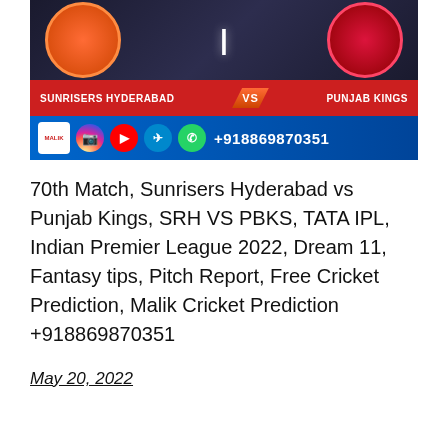[Figure (infographic): Cricket match banner showing Sunrisers Hyderabad vs Punjab Kings with team logos, VS badge in red, and contact number +918869870351 with social media icons on blue background]
70th Match, Sunrisers Hyderabad vs Punjab Kings, SRH VS PBKS, TATA IPL, Indian Premier League 2022, Dream 11, Fantasy tips, Pitch Report, Free Cricket Prediction, Malik Cricket Prediction +918869870351
May 20, 2022